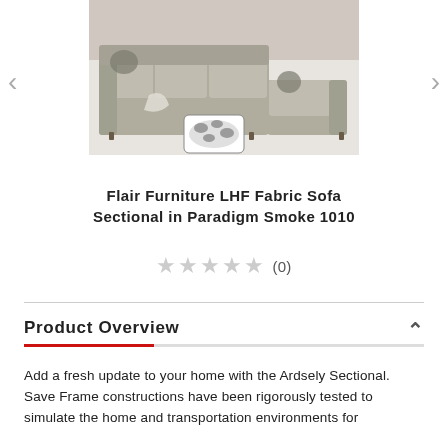[Figure (photo): Gray fabric sectional sofa with patterned ottoman on a light background, product photo]
Flair Furniture LHF Fabric Sofa Sectional in Paradigm Smoke 1010
★★★★★ (0)
Product Overview
Add a fresh update to your home with the Ardsely Sectional. Save Frame constructions have been rigorously tested to simulate the home and transportation environments for